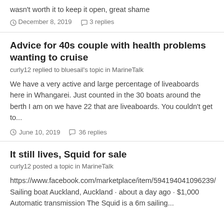wasn't worth it to keep it open, great shame
December 8, 2019   3 replies
Advice for 40s couple with health problems wanting to cruise
curly12 replied to bluesail's topic in MarineTalk
We have a very active and large percentage of liveaboards here in Whangarei. Just counted in the 30 boats around the berth I am on we have 22 that are liveaboards. You couldn't get to...
June 10, 2019   36 replies
It still lives, Squid for sale
curly12 posted a topic in MarineTalk
https://www.facebook.com/marketplace/item/594194041096239/ Sailing boat Auckland, Auckland · about a day ago · $1,000 Automatic transmission The Squid is a 6m sailing...